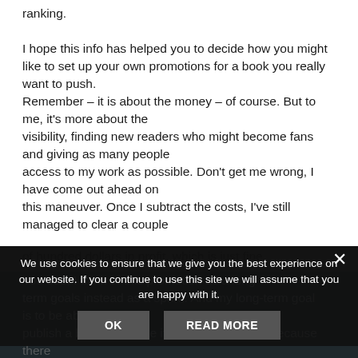ranking.
I hope this info has helped you to decide how you might like to set up your own promotions for a book you really want to push.
Remember – it is about the money – of course. But to me, it's more about the
visibility, finding new readers who might become fans and giving as many people
access to my work as possible. Don't get me wrong, I have come out ahead on
this maneuver. Once I subtract the costs, I've still managed to clear a couple
of hundred dollars in profit, which is just fine.
You see, I think of this promotion as a long-term goals instead as a sprint. And my long-term goal is to be able to
publish a book and have it sell all on its own, because there are so many fans...
We use cookies to ensure that we give you the best experience on our website. If you continue to use this site we will assume that you are happy with it.